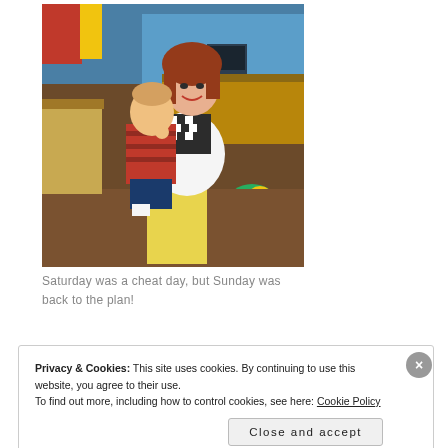[Figure (photo): A woman with red hair holding a young toddler in a red striped shirt inside what appears to be a children's play center. The woman wears a white t-shirt and yellow pants with a black and white chevron scarf. She is smiling at the camera.]
Saturday was a cheat day, but Sunday was back to the plan!
Privacy & Cookies: This site uses cookies. By continuing to use this website, you agree to their use.
To find out more, including how to control cookies, see here: Cookie Policy
Close and accept